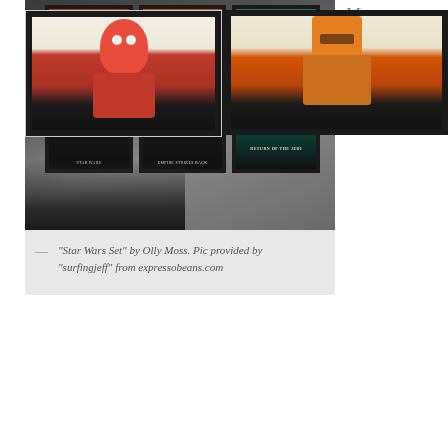[Figure (photo): Three framed Star Wars movie posters hanging on a wall: C-3PO in red, Boba Fett in orange, and a teal Return of the Jedi silhouette poster. A desk lamp is visible below.]
"Star Wars Set" by Olly Moss. Pic provided by "surfingjeff" from expressobeans.com
Mo ma the ripp he
[Figure (photo): Close-up of the C-3PO Star Wars poster by Olly Moss, showing a red silhouette of C-3PO against a light background, framed in black.]
[Figure (photo): Close-up of the Boba Fett Star Wars poster by Olly Moss, showing an orange silhouette of Boba Fett against a light background, framed in black.]